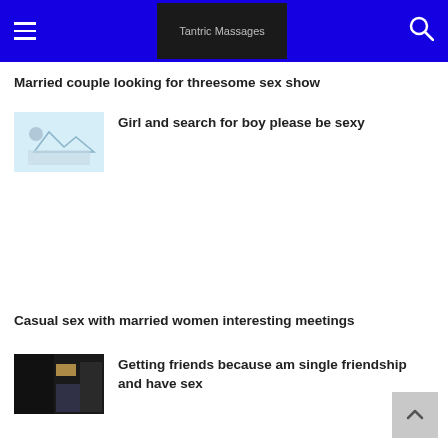Tantric Massages
Married couple looking for threesome sex show
Girl and search for boy please be sexy
Casual sex with married women interesting meetings
Getting friends because am single friendship and have sex